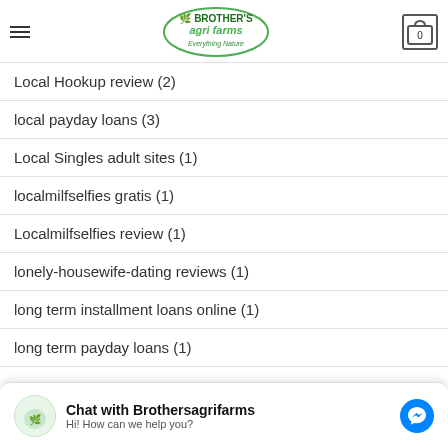Brother's Agri Farms - Everything Nature
Local Hookup review (2)
local payday loans (3)
Local Singles adult sites (1)
localmilfselfies gratis (1)
Localmilfselfies review (1)
lonely-housewife-dating reviews (1)
long term installment loans online (1)
long term payday loans (1)
Chat with Brothersagrifarms
Hi! How can we help you?